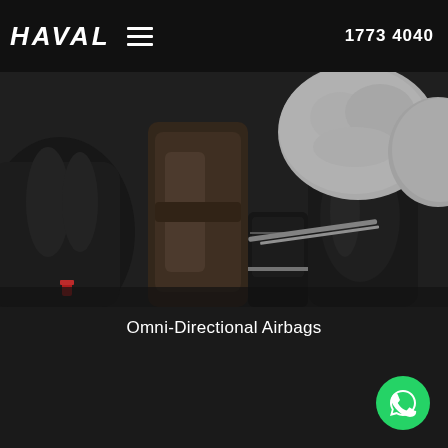1773 4040
HAVAL
[Figure (photo): Car interior showing deployed omni-directional airbags, dark leather seats, center console area visible from side angle]
Omni-Directional Airbags
[Figure (logo): WhatsApp green circular button with phone handset icon]